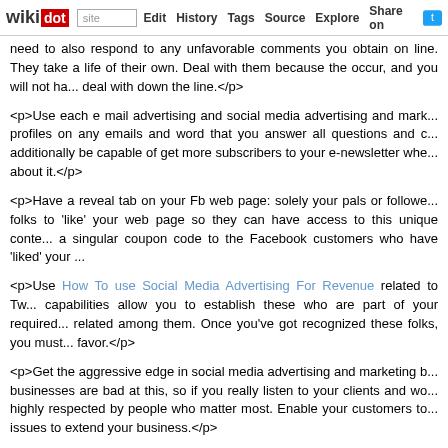wikidot | site | Edit | History | Tags | Source | Explore | Share on
need to also respond to any unfavorable comments you obtain on line. They take a life of their own. Deal with them because the occur, and you will not have a mess to deal with down the line.</p>
<p>Use each e mail advertising and social media advertising and marketing. Add social profiles on any emails and word that you answer all questions and comments online. You'll additionally be capable of get more subscribers to your e-newsletter when you mention about it.</p>
<p>Have a reveal tab on your Fb web page: solely your pals or followers will be able to see it. Entice folks to 'like' your web page so they can have access to this unique content. You possibly can provide a singular coupon code to the Facebook customers who have 'liked' your page.</p>
<p>Use How To use Social Media Advertising For Revenue related to Twitter targeting capabilities allow you to establish these who are part of your required audience and slim related among them. Once you've got recognized these folks, you must make it easy for them to favor.</p>
<p>Get the aggressive edge in social media advertising and marketing by being the first. Many businesses are bad at this, so if you really listen to your clients and work hard, you will be highly respected by people who matter most. Enable your customers to share opinions and raise issues to extend your business.</p>
<p>Conduct Facebook polls. Utilizing The best way to Efficiently Implement through Facebook, you can develop a poll to ask your followers a query. It can be about their view of a product, their opinion on how you're doing with customer service or the rest that may keep them engaged. When your followers really feel extra involved, they determine with your brand and product.</p>
<p>Make use of quite a few media retailers once you make the most of